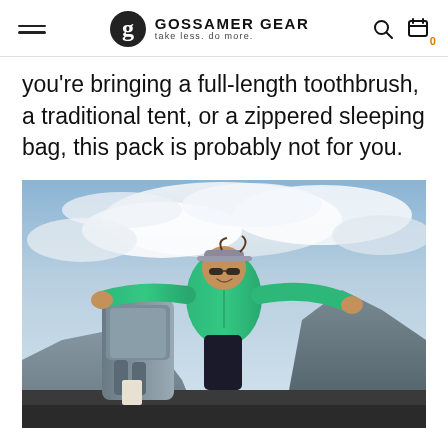GOSSAMER GEAR — take less. do more.
you're bringing a full-length toothbrush, a traditional tent, or a zippered sleeping bag, this pack is probably not for you.
[Figure (photo): Woman in green jacket with arms spread wide on a mountain summit, wearing sunglasses and a visor, with a backpack visible behind her and dramatic cloudy sky and mountain ridges in background.]